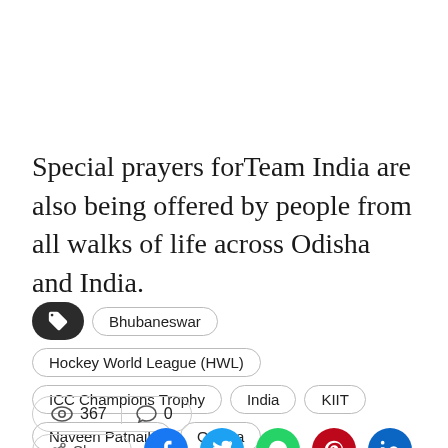Special prayers forTeam India are also being offered by people from all walks of life across Odisha and India.
Bhubaneswar
Hockey World League (HWL)
ICC Champions Trophy
India
KIIT
Naveen Patnaik
Odisha
Pakistan
367 views  0 comments
Share